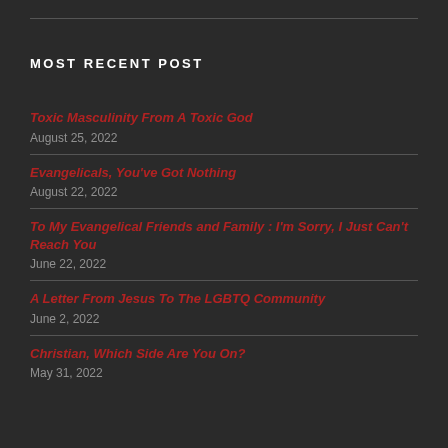MOST RECENT POST
Toxic Masculinity From A Toxic God
August 25, 2022
Evangelicals, You've Got Nothing
August 22, 2022
To My Evangelical Friends and Family : I'm Sorry, I Just Can't Reach You
June 22, 2022
A Letter From Jesus To The LGBTQ Community
June 2, 2022
Christian, Which Side Are You On?
May 31, 2022